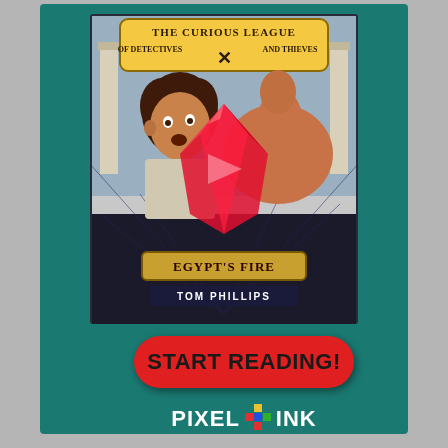[Figure (illustration): Book cover for 'The Curious League of Detectives and Thieves: Egypt's Fire' by Tom Phillips. Features a boy with curly hair, a large red gemstone with faces reflected inside, set on a teal/dark background with the book title and author name.]
[Figure (other): Red rounded rectangle button with bold black text reading 'START READING!']
[Figure (logo): Pixel + Ink publisher logo in white text with a colorful plus/cross symbol]